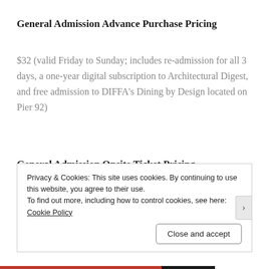General Admission Advance Purchase Pricing
$32 (valid Friday to Sunday; includes re-admission for all 3 days, a one-year digital subscription to Architectural Digest, and free admission to DIFFA’s Dining by Design located on Pier 92)
General Admission Onsite Ticket Pricing
$45
Privacy & Cookies: This site uses cookies. By continuing to use this website, you agree to their use.
To find out more, including how to control cookies, see here: Cookie Policy
Close and accept